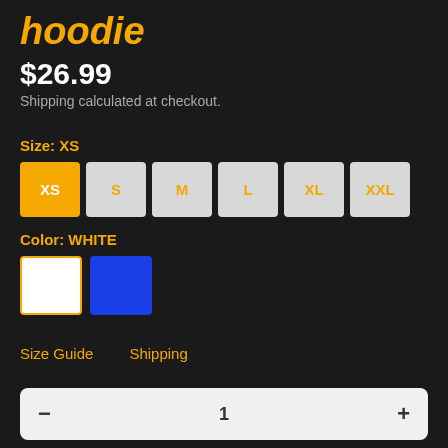hoodie
$26.99
Shipping calculated at checkout.
Size: XS
XS
S
M
L
XL
XXL
Color: WHITE
[Figure (other): Color swatch buttons: white (selected) and blue]
Size Guide   Shipping
1